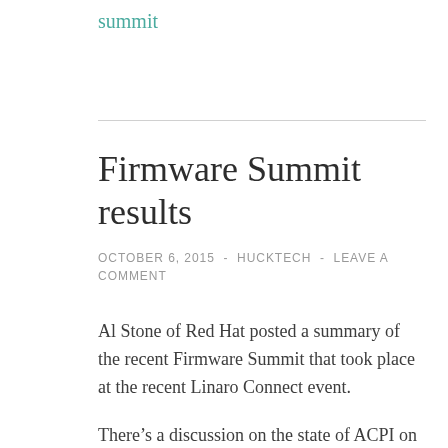summit
Firmware Summit results
OCTOBER 6, 2015  -  HUCKTECH  -  LEAVE A COMMENT
Al Stone of Red Hat posted a summary of the recent Firmware Summit that took place at the recent Linaro Connect event.
There’s a discussion on the state of ACPI on ARMv8, and Linux support. “So, please tell Linaro if there is something needed from the ACPI